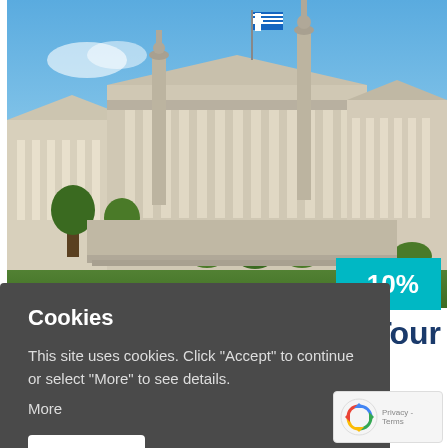[Figure (photo): Photo of a neoclassical building (Academy of Athens) with columns, statues on pedestals, a Greek flag, blue sky, and trimmed shrubs in the foreground.]
-10%
ing Tour
Cookies
This site uses cookies. Click "Accept" to continue or select "More" to see details.
More
Accept
Explore Athens with Panoramic Bus Guided city Tour inclu Acropolis. Enjoy a marvellus and well orgainized to the
[Figure (logo): reCAPTCHA logo with circular arrows icon and Privacy - Terms text]